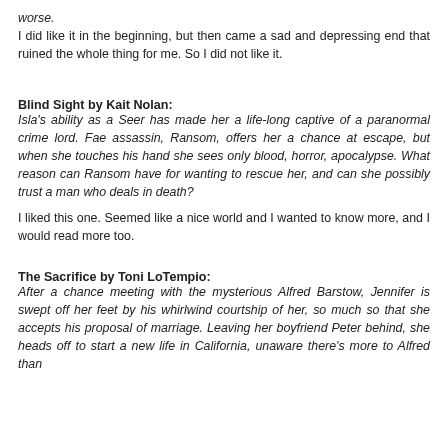worse.
I did like it in the beginning, but then came a sad and depressing end that ruined the whole thing for me. So I did not like it.
Blind Sight by Kait Nolan:
Isla's ability as a Seer has made her a life-long captive of a paranormal crime lord. Fae assassin, Ransom, offers her a chance at escape, but when she touches his hand she sees only blood, horror, apocalypse. What reason can Ransom have for wanting to rescue her, and can she possibly trust a man who deals in death?
I liked this one. Seemed like a nice world and I wanted to know more, and I would read more too.
The Sacrifice by Toni LoTempio:
After a chance meeting with the mysterious Alfred Barstow, Jennifer is swept off her feet by his whirlwind courtship of her, so much so that she accepts his proposal of marriage. Leaving her boyfriend Peter behind, she heads off to start a new life in California, unaware there's more to Alfred than